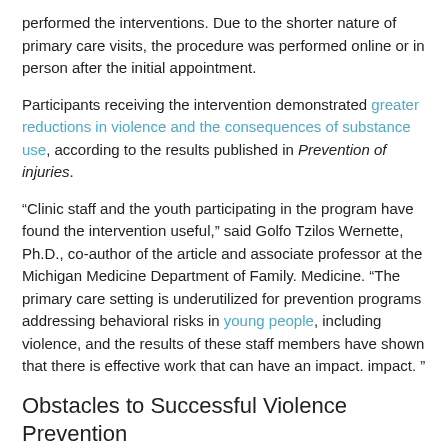performed the interventions. Due to the shorter nature of primary care visits, the procedure was performed online or in person after the initial appointment.
Participants receiving the intervention demonstrated greater reductions in violence and the consequences of substance use, according to the results published in Prevention of injuries.
“Clinic staff and the youth participating in the program have found the intervention useful,” said Golfo Tzilos Wernette, Ph.D., co-author of the article and associate professor at the Michigan Medicine Department of Family. Medicine. “The primary care setting is underutilized for prevention programs addressing behavioral risks in young people, including violence, and the results of these staff members have shown that there is effective work that can have an impact. impact. ”
Obstacles to Successful Violence Prevention